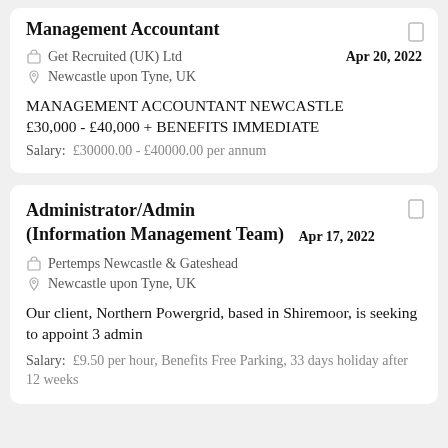Management Accountant
Get Recruited (UK) Ltd
Newcastle upon Tyne, UK
Apr 20, 2022
MANAGEMENT ACCOUNTANT NEWCASTLE
£30,000 - £40,000 + BENEFITS IMMEDIATE
Salary: £30000.00 - £40000.00 per annum
Administrator/Admin (Information Management Team)
Pertemps Newcastle & Gateshead
Newcastle upon Tyne, UK
Apr 17, 2022
Our client, Northern Powergrid, based in Shiremoor, is seeking to appoint 3 admin
Salary: £9.50 per hour, Benefits Free Parking, 33 days holiday after 12 weeks